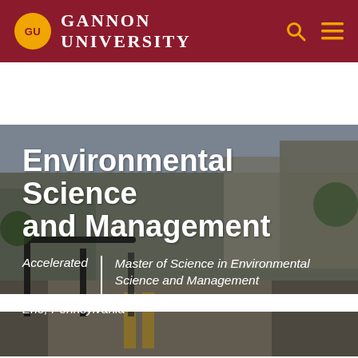GU Gannon University
[Figure (photo): Aerial or street-level view of a university campus area with archways and pathways, serving as hero background image]
Environmental Science and Management
Accelerated | Master of Science in Environmental Science and Management
Erie, Pennsylvania
EXPLORE THIS SECTION
REQUEST INFORMATION